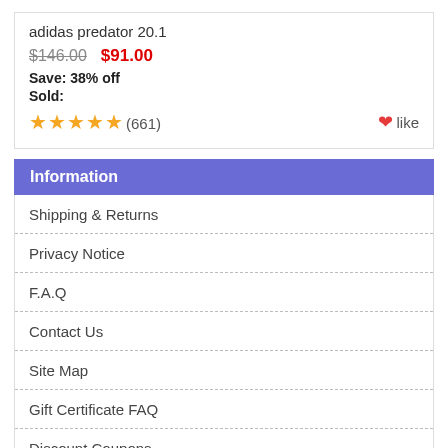adidas predator 20.1
$146.00  $91.00
Save: 38% off
Sold:
★★★★★(661)  ♥like
Information
Shipping & Returns
Privacy Notice
F.A.Q
Contact Us
Site Map
Gift Certificate FAQ
Discount Coupons
Newsletter Unsubscribe
Who's Online
There currently are 8 guests online.